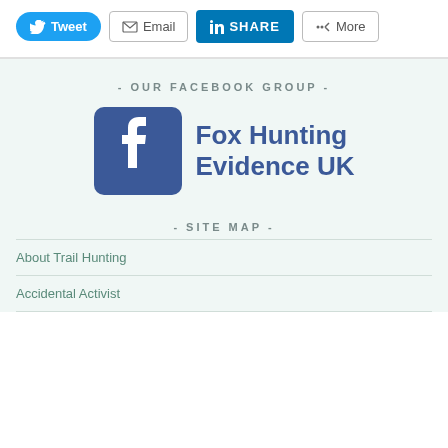[Figure (screenshot): Social share buttons: Tweet (Twitter/blue), Email (grey outlined), SHARE (LinkedIn/blue), More (grey outlined)]
- OUR FACEBOOK GROUP -
[Figure (logo): Facebook group logo icon (blue square with white f) alongside text 'Fox Hunting Evidence UK' in blue]
- SITE MAP -
About Trail Hunting
Accidental Activist